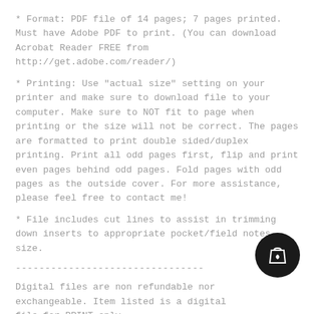* Format: PDF file of 14 pages; 7 pages printed. Must have Adobe PDF to print. (You can download Acrobat Reader FREE from http://get.adobe.com/reader/)
* Printing: Use "actual size" setting on your printer and make sure to download file to your computer. Make sure to NOT fit to page when printing or the size will not be correct. The pages are formatted to print double sided/duplex printing. Print all odd pages first, flip and print even pages behind odd pages. Fold pages with odd pages as the outside cover. For more assistance, please feel free to contact me!
* File includes cut lines to assist in trimming down inserts to appropriate pocket/field notes size.
--------------------------------
Digital files are non refundable nor exchangeable. Item listed is a digital file for PRINT only.